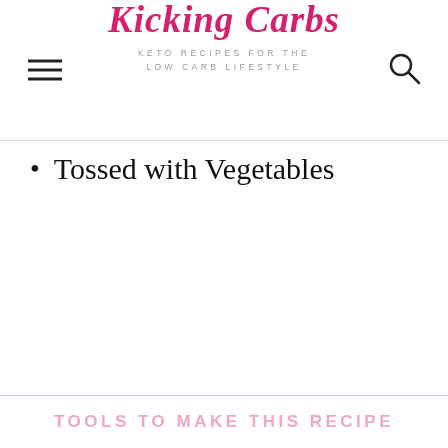Kicking Carbs — KETO RECIPES FOR THE LOW CARB LIFESTYLE
Tossed with Vegetables
TOOLS TO MAKE THIS RECIPE